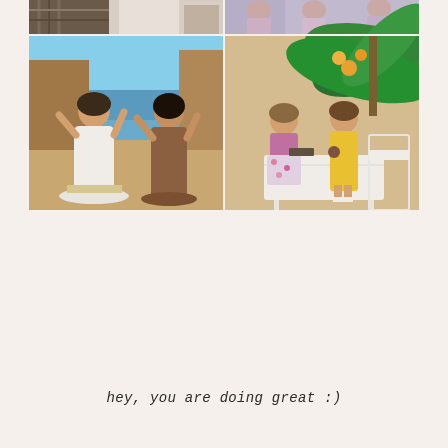[Figure (illustration): A collage of four vintage-style illustrations arranged in a 2x2 grid. Top-left: partial view of figures in checkered/plaid clothing. Top-right: two or three girls in dresses (pink/lavender tones). Bottom-left: two women in summer dresses (one white, one brown) posing on a beach with arms raised. Bottom-right: two girls sitting at a small white table outdoors with tropical plants, one in pink top with floral skirt, one in yellow dress.]
hey, you are doing great :)